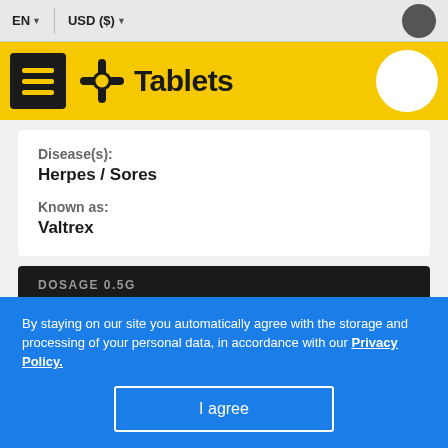EN  USD ($)
Tablets
Disease(s):
Herpes / Sores

Known as:
Valtrex
DOSAGE 0.5G
6 tablet   $ 59.95
By staying on our site you automatically agree with the storage and processing of your personal data, in accordance with our Privacy Policy.
I agree